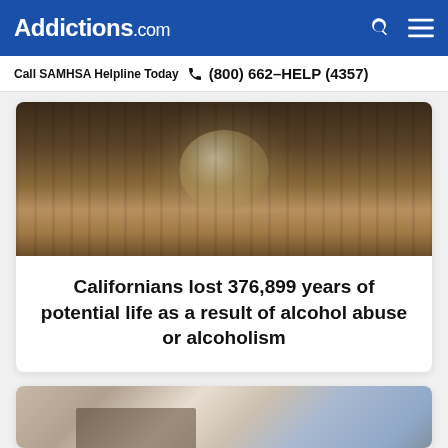Addictions.com
Call SAMHSA Helpline Today  (800) 662-HELP (4357)
[Figure (photo): Close-up photo of a glass of alcohol (whiskey or spirits) tipping or resting on a wooden surface, viewed from above at an angle.]
Californians lost 376,899 years of potential life as a result of alcohol abuse or alcoholism
[Figure (photo): Blurred close-up photo of hands exchanging money (cash/banknotes).]